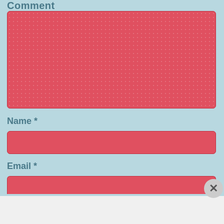Comment
[Figure (other): Red comment textarea input field with dotted texture pattern]
Name *
[Figure (other): Red name input field]
Email *
[Figure (other): Red email input field (partially visible)]
Advertisements
[Figure (other): Victoria's Secret advertisement banner: SHOP THE COLLECTION - SHOP NOW button]